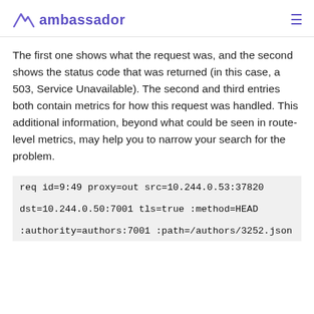ambassador
The first one shows what the request was, and the second shows the status code that was returned (in this case, a 503, Service Unavailable). The second and third entries both contain metrics for how this request was handled. This additional information, beyond what could be seen in route-level metrics, may help you to narrow your search for the problem.
req id=9:49 proxy=out src=10.244.0.53:37820 dst=10.244.0.50:7001 tls=true :method=HEAD :authority=authors:7001 :path=/authors/3252.json